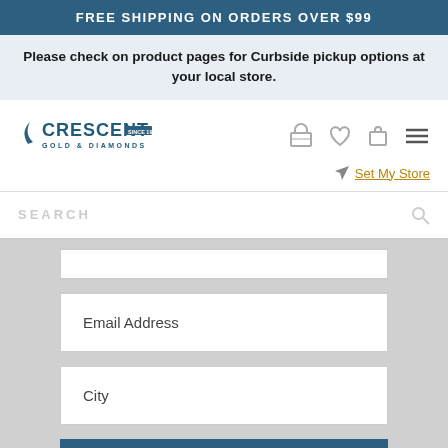FREE SHIPPING ON ORDERS OVER $99
Please check on product pages for Curbside pickup options at your local store.
[Figure (logo): Crescent Gold & Diamonds logo with crescent moon shape]
[Figure (infographic): Navigation icons: store, heart/wishlist, bag/cart, hamburger menu]
Set My Store
SEARCH
Email Address
City